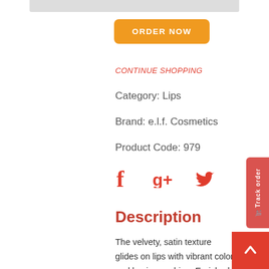[Figure (screenshot): Gray top bar element (partial product image area)]
ORDER NOW
CONTINUE SHOPPING
Category: Lips
Brand: e.l.f. Cosmetics
Product Code: 979
[Figure (infographic): Social share icons: Facebook (f), Google+ (g+), Twitter (bird)]
Description
The velvety, satin texture glides on lips with vibrant color and luminous shine. Enriched with Shea and Vitamins A, C, & E to nourish and hydrate the lips. The rich, creamy formula